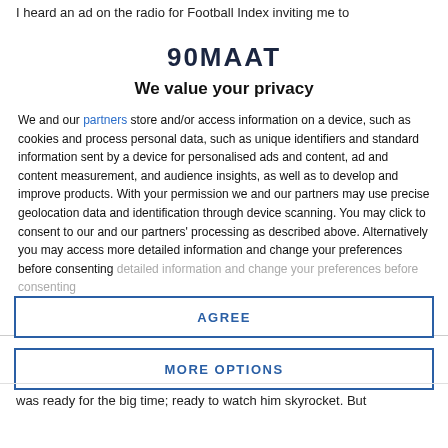I heard an ad on the radio for Football Index inviting me to
90MAAT
We value your privacy
We and our partners store and/or access information on a device, such as cookies and process personal data, such as unique identifiers and standard information sent by a device for personalised ads and content, ad and content measurement, and audience insights, as well as to develop and improve products. With your permission we and our partners may use precise geolocation data and identification through device scanning. You may click to consent to our and our partners' processing as described above. Alternatively you may access more detailed information and change your preferences before consenting
AGREE
MORE OPTIONS
was ready for the big time; ready to watch him skyrocket. But